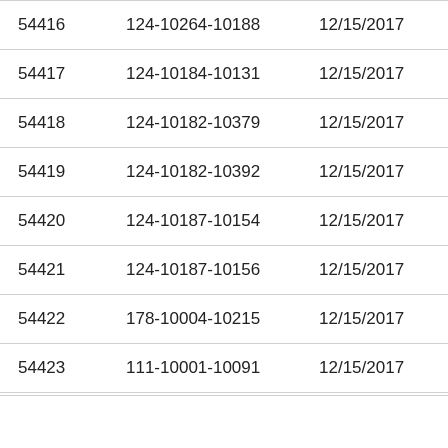| 54416 | 124-10264-10188 | 12/15/2017 | In Fu |
| 54417 | 124-10184-10131 | 12/15/2017 | In Fu |
| 54418 | 124-10182-10379 | 12/15/2017 | In Fu |
| 54419 | 124-10182-10392 | 12/15/2017 | In Fu |
| 54420 | 124-10187-10154 | 12/15/2017 | In Fu |
| 54421 | 124-10187-10156 | 12/15/2017 | In Fu |
| 54422 | 178-10004-10215 | 12/15/2017 | In Fu |
| 54423 | 111-10001-10091 | 12/15/2017 | In Fu |